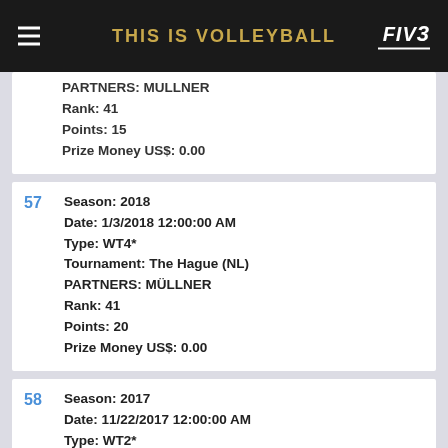THIS IS VOLLEYBALL
PARTNERS: MULLNER
Rank: 41
Points: 15
Prize Money US$: 0.00
57 Season: 2018
Date: 1/3/2018 12:00:00 AM
Type: WT4*
Tournament: The Hague (NL)
PARTNERS: MÜLLNER
Rank: 41
Points: 20
Prize Money US$: 0.00
58 Season: 2017
Date: 11/22/2017 12:00:00 AM
Type: WT2*
Tournament: Sydney (AU)
PARTNERS: MÜLLNER
Rank: 19
Points: 36
Prize Money US$: 500.00